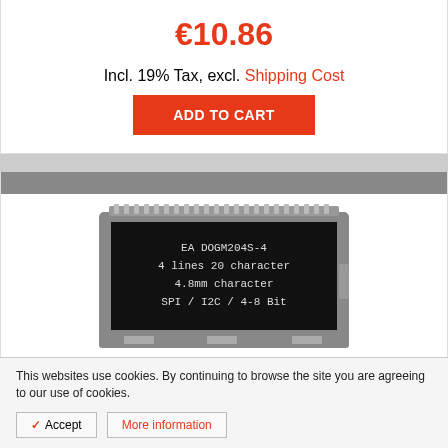€10.86
Incl. 19% Tax, excl. Shipping Cost
ADD TO CART
[Figure (photo): LCD display module showing 'EA DOGM204S-4 / 4 lines 20 character / 4.8mm character / SPI / I2C / 4-8 Bit']
This websites use cookies. By continuing to browse the site you are agreeing to our use of cookies.
✓ Accept
More information